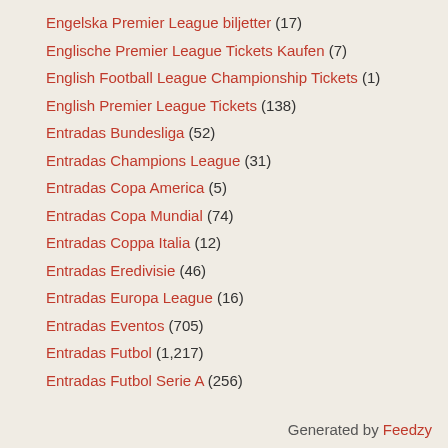Engelska Premier League biljetter (17)
Englische Premier League Tickets Kaufen (7)
English Football League Championship Tickets (1)
English Premier League Tickets (138)
Entradas Bundesliga (52)
Entradas Champions League (31)
Entradas Copa America (5)
Entradas Copa Mundial (74)
Entradas Coppa Italia (12)
Entradas Eredivisie (46)
Entradas Europa League (16)
Entradas Eventos (705)
Entradas Futbol (1,217)
Entradas Futbol Serie A (256)
Generated by Feedzy